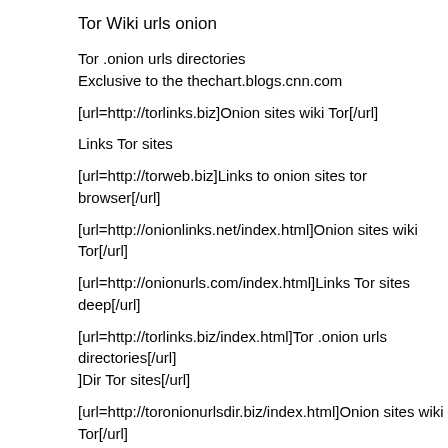Tor Wiki urls onion
Tor .onion urls directories
Exclusive to the thechart.blogs.cnn.com
[url=http://torlinks.biz]Onion sites wiki Tor[/url]
Links Tor sites
[url=http://torweb.biz]Links to onion sites tor browser[/url]
[url=http://onionlinks.net/index.html]Onion sites wiki Tor[/url]
[url=http://onionurls.com/index.html]Links Tor sites deep[/url]
[url=http://torlinks.biz/index.html]Tor .onion urls directories[/url]
]Dir Tor sites[/url]
[url=http://toronionurlsdir.biz/index.html]Onion sites wiki Tor[/url]
March 6, 2021 at 08:03 | Report abuse | Reply
26. pokeronline
Having read this I believed it was very enlightening.
I appreciate you spending some time and energy